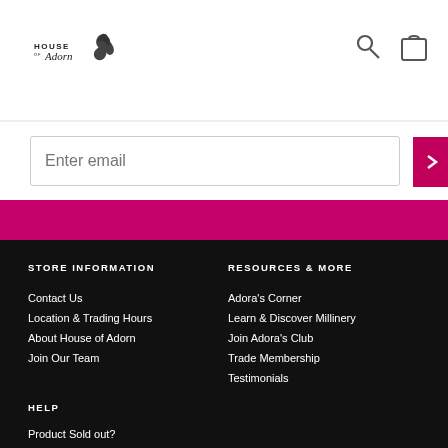[Figure (logo): House of Adorn logo with swan silhouette and stylized script text]
Enter email
STORE INFORMATION
Contact Us
Location & Trading Hours
About House of Adorn
Join Our Team
RESOURCES & MORE
Adora's Corner
Learn & Discover Millinery
Join Adora's Club
Trade Membership
Testimonials
HELP
Product Sold out?